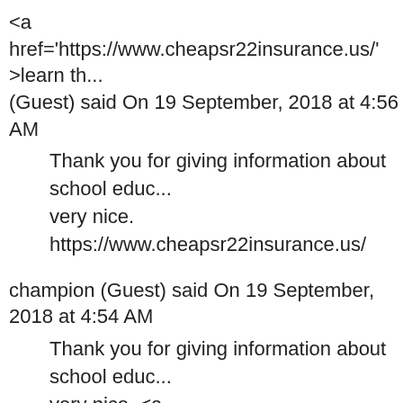<a href='https://www.cheapsr22insurance.us/' >learn th... (Guest) said On 19 September, 2018 at 4:56 AM
Thank you for giving information about school educ... very nice. https://www.cheapsr22insurance.us/
champion (Guest) said On 19 September, 2018 at 4:54 AM
Thank you for giving information about school educ... very nice. <a href='https://www.cheapsr22insurance.... here now</a>
<a href="https://cryptotruffle.com/">ico</a> (Guest) said... September, 2018 at 1:57 PM
Blockchain, crypto and ICO (Initial Coin Offering) info... list of past, ongoing and upcoming ICOs with a custo... Consulting services.
<a href='http://freeseo.jigsy.com/'>look at this site</a> (... September, 2018 at 11:31 AM